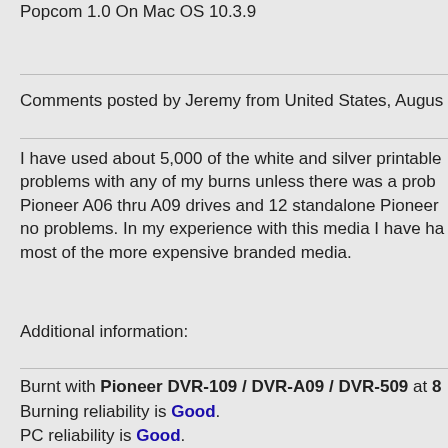Popcom 1.0 On Mac OS 10.3.9
Comments posted by Jeremy from United States, Augus
I have used about 5,000 of the white and silver printable problems with any of my burns unless there was a prob Pioneer A06 thru A09 drives and 12 standalone Pioneer no problems. In my experience with this media I have ha most of the more expensive branded media.
Additional information:
Burnt with Pioneer DVR-109 / DVR-A09 / DVR-509 at 8
Burning reliability is Good.
PC reliability is Good.
DVD reliability is Good.
Media inkjet printable reliability is Good.
Media color is White Silver.
Media text is None.